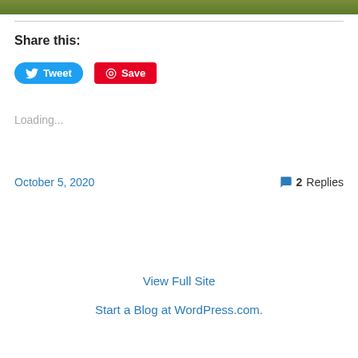[Figure (photo): Narrow strip of a nature/outdoor photo at the top of the page]
Share this:
[Figure (other): Tweet button (blue rounded) and Save button (red rectangular) social sharing buttons]
Loading...
October 5, 2020
2 Replies
View Full Site
Start a Blog at WordPress.com.